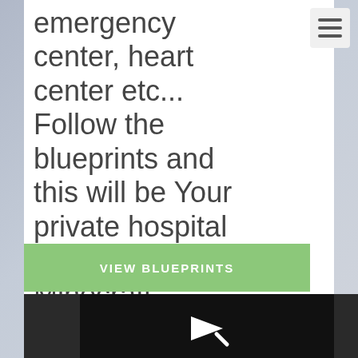emergency center, heart center etc... Follow the blueprints and this will be Your private hospital building in Minecraft already today!
[Figure (screenshot): Hamburger menu icon (three horizontal lines) in a light grey rounded button at top right]
VIEW BLUEPRINTS
[Figure (screenshot): Video player error: arrow/play icon with text 'The video cannot be played in this browser. (Error Code: 242632)' on black background]